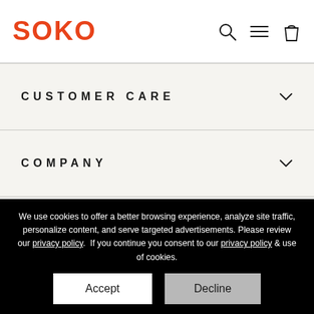SOKO
CUSTOMER CARE
COMPANY
COLLABORATE
We use cookies to offer a better browsing experience, analyze site traffic, personalize content, and serve targeted advertisements. Please review our privacy policy.  If you continue you consent to our privacy policy & use of cookies.
Accept
Decline